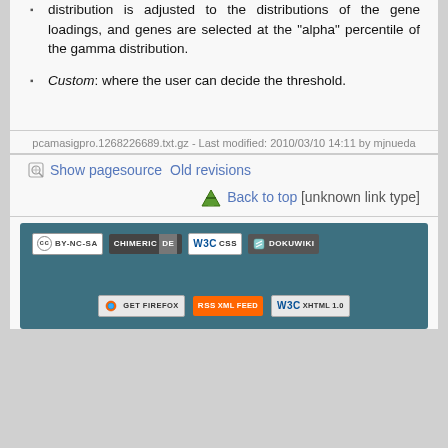distribution is adjusted to the distributions of the gene loadings, and genes are selected at the "alpha" percentile of the gamma distribution.
Custom: where the user can decide the threshold.
pcamasigpro.1268226689.txt.gz - Last modified: 2010/03/10 14:11 by mjnueda
Show pagesource   Old revisions
Back to top [unknown link type]
[Figure (other): Footer banner with license and validation badges: CC BY-NC-SA, Chimeric DE, W3C CSS, DokuWiki, Get Firefox, RSS XML Feed, W3C XHTML 1.0]